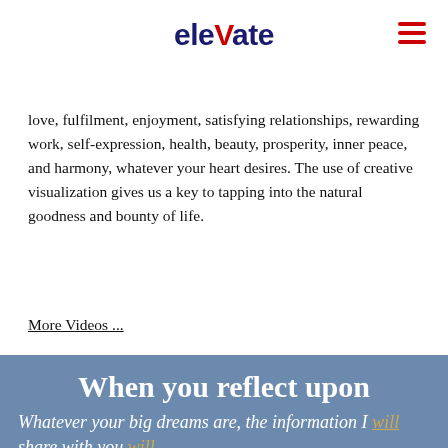elevate
love, fulfilment, enjoyment, satisfying relationships, rewarding work, self-expression, health, beauty, prosperity, inner peace, and harmony, whatever your heart desires. The use of creative visualization gives us a key to tapping into the natural goodness and bounty of life.
More Videos ...
When you reflect upon your life and career, what do you want to say?
Whatever your big dreams are, the information I will share with you will